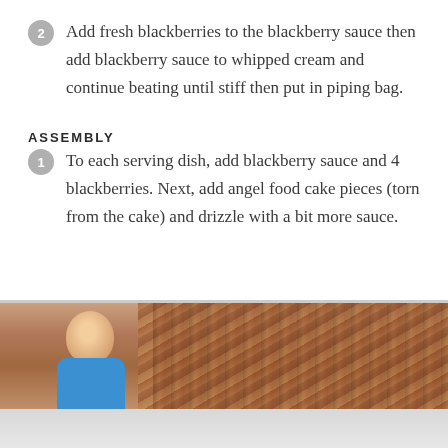2 Add fresh blackberries to the blackberry sauce then add blackberry sauce to whipped cream and continue beating until stiff then put in piping bag.
ASSEMBLY
1 To each serving dish, add blackberry sauce and 4 blackberries. Next, add angel food cake pieces (torn from the cake) and drizzle with a bit more sauce.
[Figure (photo): Photo of a smiling man in a blue shirt alongside a close-up of textured food items (likely dried or roasted), partially cut off at the bottom of the page.]